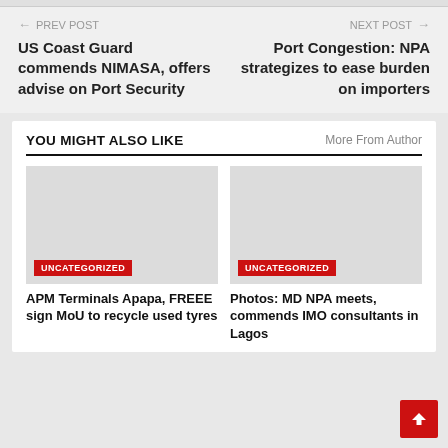← PREV POST
US Coast Guard commends NIMASA, offers advise on Port Security
NEXT POST →
Port Congestion: NPA strategizes to ease burden on importers
YOU MIGHT ALSO LIKE
More From Author
[Figure (photo): Placeholder image for article: APM Terminals Apapa, FREEE sign MoU to recycle used tyres - tagged UNCATEGORIZED]
APM Terminals Apapa, FREEE sign MoU to recycle used tyres
[Figure (photo): Placeholder image for article: Photos: MD NPA meets, commends IMO consultants in Lagos - tagged UNCATEGORIZED]
Photos: MD NPA meets, commends IMO consultants in Lagos